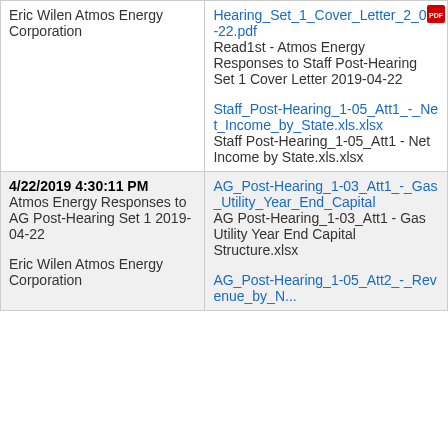| Date/Submitter/Description | Files |
| --- | --- |
| Eric Wilen Atmos Energy Corporation | Hearing_Set_1_Cover_Letter_2_04-22.pdf
Read1st - Atmos Energy Responses to Staff Post-Hearing Set 1 Cover Letter 2019-04-22

Staff_Post-Hearing_1-05_Att1_-_Net_Income_by_State.xls.xlsx
Staff Post-Hearing_1-05_Att1 - Net Income by State.xls.xlsx |
| 4/22/2019 4:30:11 PM
Atmos Energy Responses to AG Post-Hearing Set 1 2019-04-22

Eric Wilen Atmos Energy Corporation | AG_Post-Hearing_1-03_Att1_-_Gas_Utility_Year_End_Capital
AG Post-Hearing_1-03_Att1 - Gas Utility Year End Capital Structure.xlsx

AG_Post-Hearing_1-05_Att2_-_Revenue_by_N... |